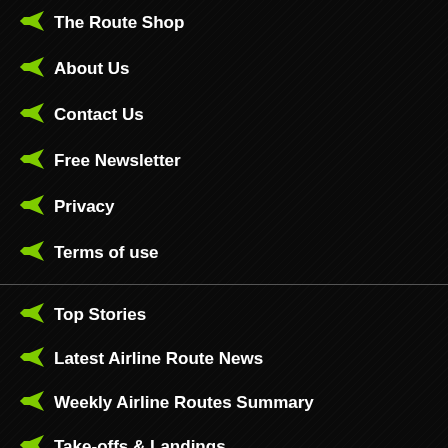The Route Shop
About Us
Contact Us
Free Newsletter
Privacy
Terms of use
Top Stories
Latest Airline Route News
Weekly Airline Routes Summary
Take-offs & Landings
Airline Analysis
Airport Analysis
Country Feature
Interviews
Farewatch